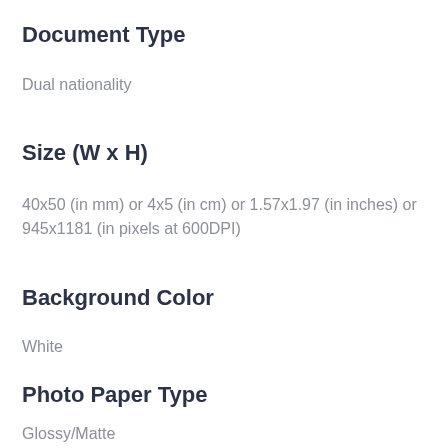Document Type
Dual nationality
Size (W x H)
40x50 (in mm) or 4x5 (in cm) or 1.57x1.97 (in inches) or 945x1181 (in pixels at 600DPI)
Background Color
White
Photo Paper Type
Glossy/Matte